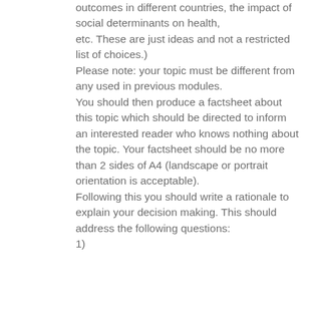outcomes in different countries, the impact of social determinants on health,
etc. These are just ideas and not a restricted list of choices.)
Please note: your topic must be different from any used in previous modules.
You should then produce a factsheet about this topic which should be directed to inform an interested reader who knows nothing about the topic. Your factsheet should be no more than 2 sides of A4 (landscape or portrait orientation is acceptable).
Following this you should write a rationale to explain your decision making. This should address the following questions:
1)